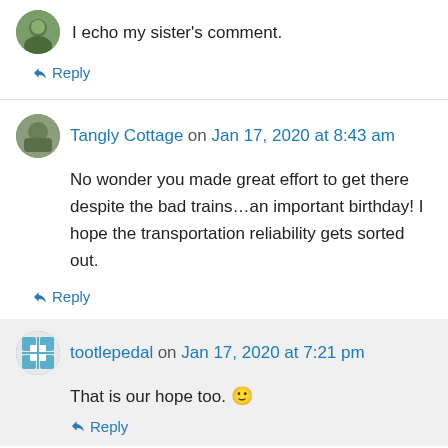I echo my sister's comment.
↳ Reply
Tangly Cottage on Jan 17, 2020 at 8:43 am
No wonder you made great effort to get there despite the bad trains…an important birthday! I hope the transportation reliability gets sorted out.
↳ Reply
tootlepedal on Jan 17, 2020 at 7:21 pm
That is our hope too. 🙂
↳ Reply